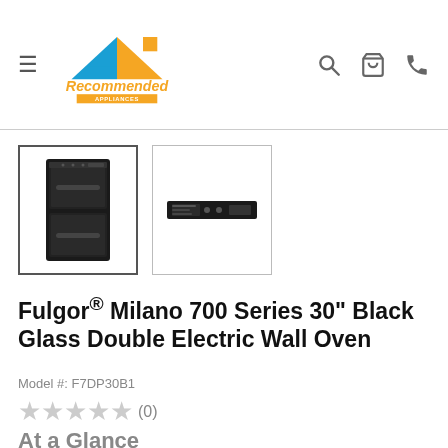[Figure (logo): Recommended Appliances logo with house roof shape in blue and orange]
[Figure (photo): Thumbnail of Fulgor Milano black glass double wall oven, front view, selected/active]
[Figure (photo): Thumbnail of Fulgor Milano black glass double wall oven, side/control panel view]
Fulgor® Milano 700 Series 30" Black Glass Double Electric Wall Oven
Model #: F7DP30B1
★★★★★ (0)
At a Glance